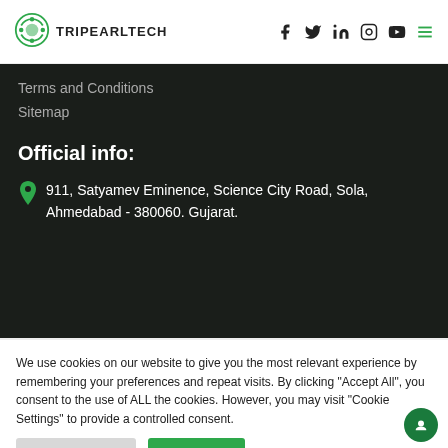TRIPEARLTECH
Terms and Conditions
Sitemap
Official info:
911, Satyamev Eminence, Science City Road, Sola, Ahmedabad - 380060. Gujarat.
We use cookies on our website to give you the most relevant experience by remembering your preferences and repeat visits. By clicking "Accept All", you consent to the use of ALL the cookies. However, you may visit "Cookie Settings" to provide a controlled consent.